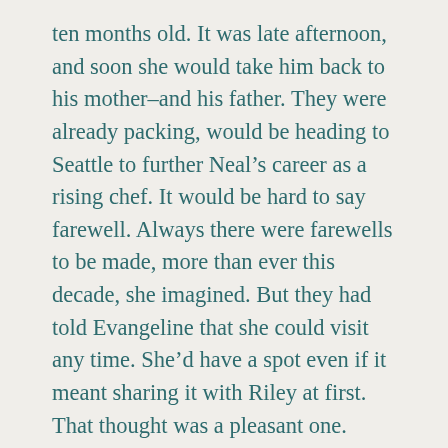ten months old. It was late afternoon, and soon she would take him back to his mother–and his father. They were already packing, would be heading to Seattle to further Neal's career as a rising chef. It would be hard to say farewell. Always there were farewells to be made, more than ever this decade, she imagined. But they had told Evangeline that she could visit any time. She'd have a spot even if it meant sharing it with Riley at first. That thought was a pleasant one.
The heron was perched on top of a tree that was dead. He often was there. From that vantage point he could see things coming. She thought that was not so desirable when all was said and done.